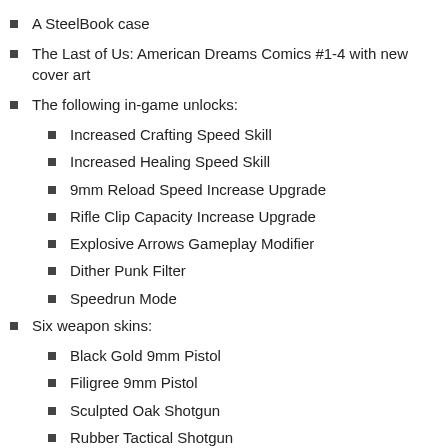A SteelBook case
The Last of Us: American Dreams Comics #1-4 with new cover art
The following in-game unlocks:
Increased Crafting Speed Skill
Increased Healing Speed Skill
9mm Reload Speed Increase Upgrade
Rifle Clip Capacity Increase Upgrade
Explosive Arrows Gameplay Modifier
Dither Punk Filter
Speedrun Mode
Six weapon skins:
Black Gold 9mm Pistol
Filigree 9mm Pistol
Sculpted Oak Shotgun
Rubber Tactical Shotgun